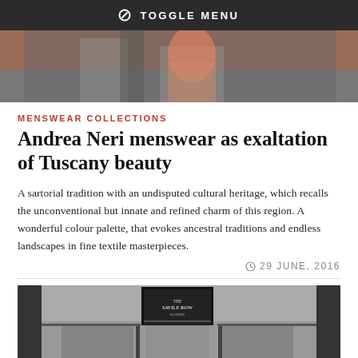TOGGLE MENU
[Figure (photo): Top hero image showing a person in pink trousers on steps]
MENSWEAR COLLECTIONS
Andrea Neri menswear as exaltation of Tuscany beauty
A sartorial tradition with an undisputed cultural heritage, which recalls the unconventional but innate and refined charm of this region. A wonderful colour palette, that evokes ancestral traditions and endless landscapes in fine textile masterpieces.
29 JUNE, 2016
[Figure (photo): Bottom image showing a Savile Row storefront with display windows]